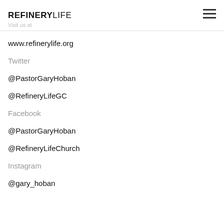the prior written permission
REFINERYLIFE
Visit us at
www.refinerylife.org
Twitter
@PastorGaryHoban
@RefineryLifeGC
Facebook
@PastorGaryHoban
@RefineryLifeChurch
Instagram
@gary_hoban